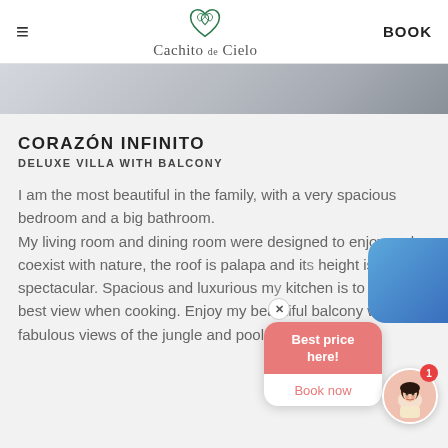Cachito de Cielo — BOOK
[Figure (photo): Hotel/villa room photo strip, partially visible]
CORAZÓN INFINITO
DELUXE VILLA WITH BALCONY
I am the most beautiful in the family, with a very spacious bedroom and a big bathroom. My living room and dining room were designed to enjoy and coexist with nature, the roof is palapa and its height is spectacular. Spacious and luxurious my kitchen is to enjoy the best view when cooking. Enjoy my beautiful balcony with fabulous views of the jungle and pool.
[Figure (screenshot): Chat popup with 'Best price here!' and 'Book now' button, plus avatar with notification badge]